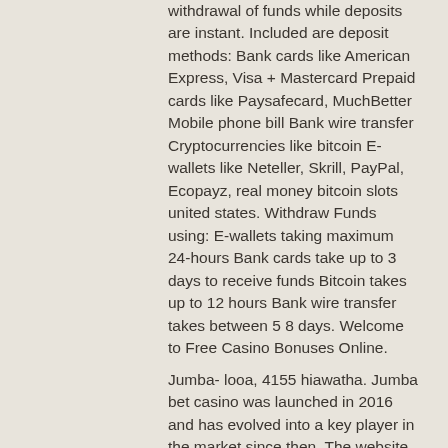withdrawal of funds while deposits are instant. Included are deposit methods: Bank cards like American Express, Visa + Mastercard Prepaid cards like Paysafecard, MuchBetter Mobile phone bill Bank wire transfer Cryptocurrencies like bitcoin E-wallets like Neteller, Skrill, PayPal, Ecopayz, real money bitcoin slots united states. Withdraw Funds using: E-wallets taking maximum 24-hours Bank cards take up to 3 days to receive funds Bitcoin takes up to 12 hours Bank wire transfer takes between 5 8 days. Welcome to Free Casino Bonuses Online.
Jumba- looa, 4155 hiawatha. Jumba bet casino was launched in 2016 and has evolved into a key player in the market since then. The website is pretty unique as it offers gamblers from. Jumba bet sister casinos are best online casinos it you want a perfect mix of online slots, video poker, table games. Jumba bet casino - beginners and seasoned